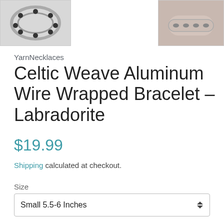[Figure (photo): Two product images cropped at top: left shows a Celtic weave silver bracelet top view, right shows bracelet worn on wrist]
YarnNecklaces
Celtic Weave Aluminum Wire Wrapped Bracelet - Labradorite
$19.99
Shipping calculated at checkout.
Size
Small 5.5-6 Inches
Quantity